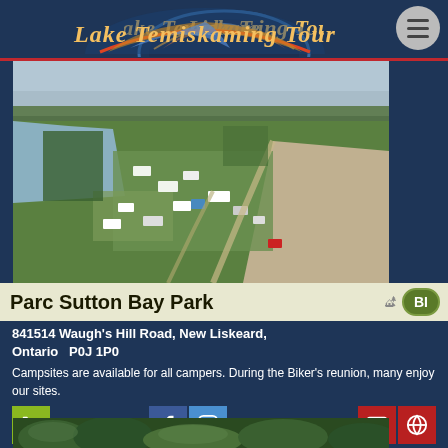Lake Temiskaming Tour
[Figure (photo): Aerial photograph of Parc Sutton Bay Park campground with lake, green trees, RVs and campsites visible, along with gravel roads and surrounding landscape]
Parc Sutton Bay Park
841514 Waugh's Hill Road, New Liskeard, Ontario  P0J 1P0
Campsites are available for all campers. During the Biker's reunion, many enjoy our sites.
1-705-647-8510
[Figure (photo): Partial aerial or ground photo of green forested area at bottom of page]